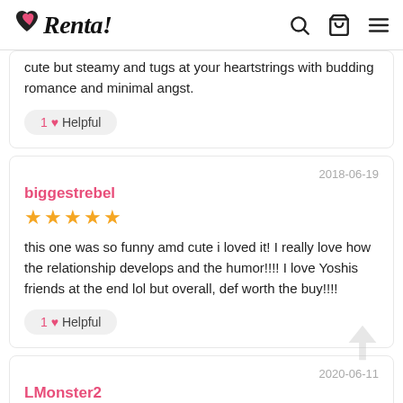Renta!
cute but steamy and tugs at your heartstrings with budding romance and minimal angst.
1 ♥ Helpful
2018-06-19
biggestrebel
[Figure (other): 5 gold stars rating]
this one was so funny amd cute i loved it! I really love how the relationship develops and the humor!!!! I love Yoshis friends at the end lol but overall, def worth the buy!!!!
1 ♥ Helpful
2020-06-11
LMonster2